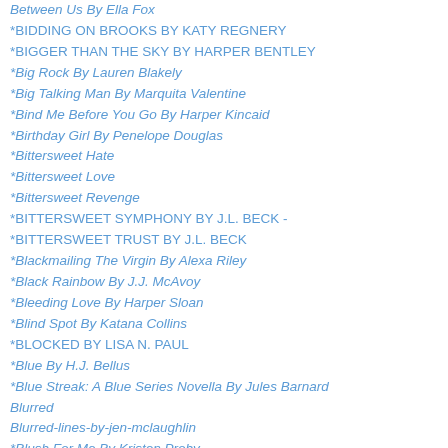Between Us By Ella Fox
*BIDDING ON BROOKS BY KATY REGNERY
*BIGGER THAN THE SKY BY HARPER BENTLEY
*Big Rock By Lauren Blakely
*Big Talking Man By Marquita Valentine
*Bind Me Before You Go By Harper Kincaid
*Birthday Girl By Penelope Douglas
*Bittersweet Hate
*Bittersweet Love
*Bittersweet Revenge
*BITTERSWEET SYMPHONY BY J.L. BECK -
*BITTERSWEET TRUST BY J.L. BECK
*Blackmailing The Virgin By Alexa Riley
*Black Rainbow By J.J. McAvoy
*Bleeding Love By Harper Sloan
*Blind Spot By Katana Collins
*BLOCKED BY LISA N. PAUL
*Blue By H.J. Bellus
*Blue Streak: A Blue Series Novella By Jules Barnard
Blurred
Blurred-lines-by-jen-mclaughlin
*Blush For Me By Kristen Proby